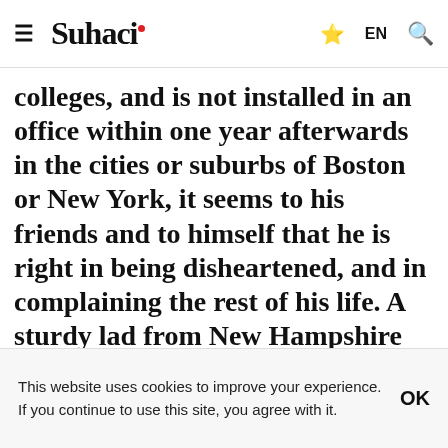≡ Suhaci [share] EN [search]
of our finest genius studies at one of our colleges, and is not installed in an office within one year afterwards in the cities or suburbs of Boston or New York, it seems to his friends and to himself that he is right in being disheartened, and in complaining the rest of his life. A sturdy lad from New Hampshire or Vermont, who in turn tries all the professions, who teams it, farms it, peddles, keeps a school, preaches, edits…
This website uses cookies to improve your experience. If you continue to use this site, you agree with it.